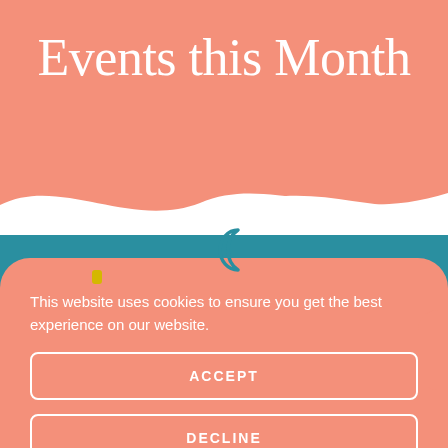Events this Month
[Figure (illustration): Cookie consent overlay banner on a website showing 'Events this Month' header with salmon/pink background, white wave, teal band, decorative moon and yellow dot icons, and an orange cookie consent dialog with ACCEPT and DECLINE buttons]
This website uses cookies to ensure you get the best experience on our website.
ACCEPT
DECLINE